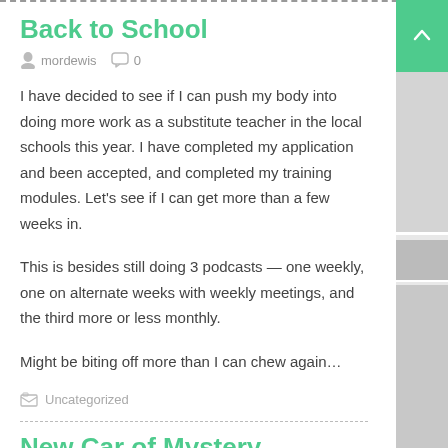Back to School
mordewis   0
I have decided to see if I can push my body into doing more work as a substitute teacher in the local schools this year. I have completed my application and been accepted, and completed my training modules. Let’s see if I can get more than a few weeks in.
This is besides still doing 3 podcasts — one weekly, one on alternate weeks with weekly meetings, and the third more or less monthly.
Might be biting off more than I can chew again…
Uncategorized
New Car of Mystery